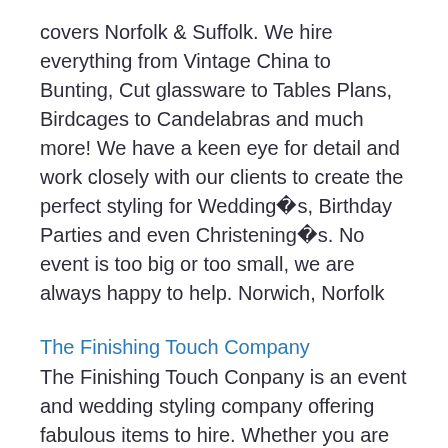covers Norfolk & Suffolk. We hire everything from Vintage China to Bunting, Cut glassware to Tables Plans, Birdcages to Candelabras and much more! We have a keen eye for detail and work closely with our clients to create the perfect styling for Wedding�s, Birthday Parties and even Christening�s. No event is too big or too small, we are always happy to help. Norwich, Norfolk
The Finishing Touch Company
The Finishing Touch Conpany is an event and wedding styling company offering fabulous items to hire. Whether you are vintage inspired or looking for something a little different we can style, design & create your perfect wedding, party or event. Please